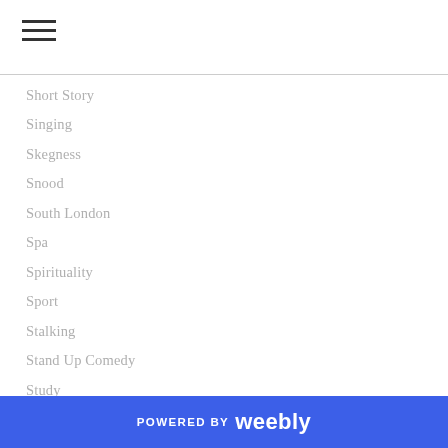Short Story
Singing
Skegness
Snood
South London
Spa
Spirituality
Sport
Stalking
Stand Up Comedy
Study
Swimming
Theatre
The Kings Head
The Lion King
The…
POWERED BY weebly